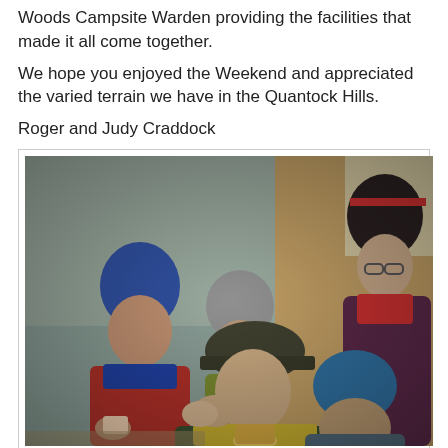Woods Campsite Warden providing the facilities that made it all come together.
We hope you enjoyed the Weekend and appreciated the varied terrain we have in the Quantock Hills.
Roger and Judy Craddock
[Figure (photo): Group of people in winter outdoor clothing (hats, jackets) sitting and standing indoors, appearing to be at a campsite or rural building gathering. Several people visible wearing beanies and caps.]